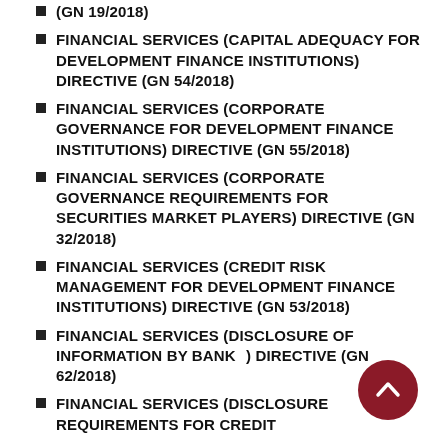(GN 19/2018)
FINANCIAL SERVICES (CAPITAL ADEQUACY FOR DEVELOPMENT FINANCE INSTITUTIONS) DIRECTIVE (GN 54/2018)
FINANCIAL SERVICES (CORPORATE GOVERNANCE FOR DEVELOPMENT FINANCE INSTITUTIONS) DIRECTIVE (GN 55/2018)
FINANCIAL SERVICES (CORPORATE GOVERNANCE REQUIREMENTS FOR SECURITIES MARKET PLAYERS) DIRECTIVE (GN 32/2018)
FINANCIAL SERVICES (CREDIT RISK MANAGEMENT FOR DEVELOPMENT FINANCE INSTITUTIONS) DIRECTIVE (GN 53/2018)
FINANCIAL SERVICES (DISCLOSURE OF INFORMATION BY BANKS) DIRECTIVE (GN 62/2018)
FINANCIAL SERVICES (DISCLOSURE REQUIREMENTS FOR CREDIT...